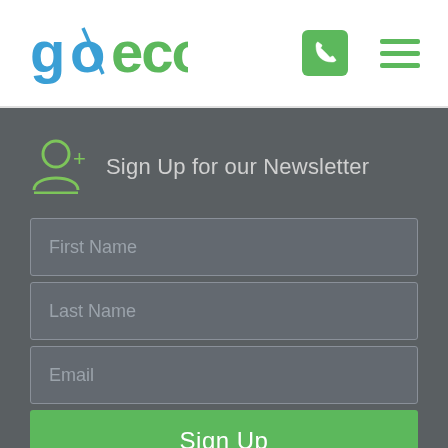[Figure (logo): GoEco logo in blue and green with stylized text]
[Figure (other): Green phone icon button and green hamburger menu icon]
Sign Up for our Newsletter
First Name
Last Name
Email
Sign Up